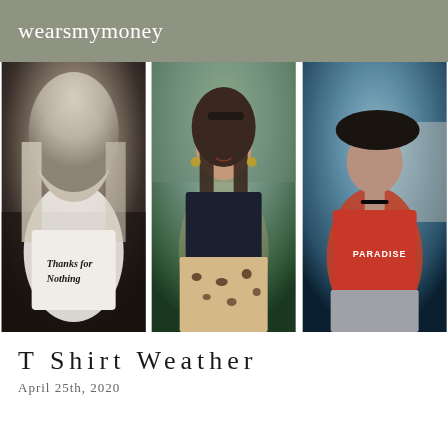wearsmymoney
[Figure (photo): Three fashion photos side by side: left - blonde woman in white graphic t-shirt reading 'Thanks for Nothing'; center - brunette woman smiling in band t-shirt with leopard print skirt; right - woman in black beret and red t-shirt reading 'PARADISE']
T Shirt Weather
April 25th, 2020